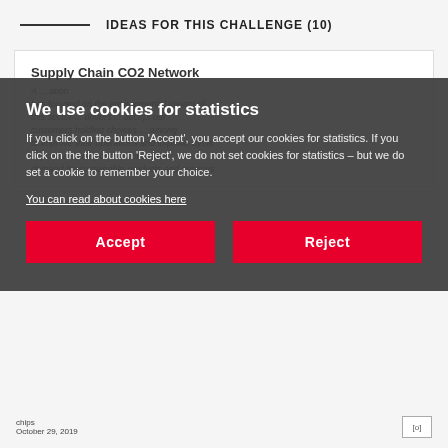IDEAS FOR THIS CHALLENGE (10)
Supply Chain CO2 Network
A ... has focused on the environmental impact of this sector ... drivers ... customers holding choices ... to improve their operations and improve oyms ... point also respond to consumer demand for sustainable products and services
We use cookies for statistics

If you click on the button 'Accept', you accept our cookies for statistics. If you click on the the button 'Reject', we do not set cookies for statistics – but we do set a cookie to remember your choice.

You can read about cookies here
Accept
Reject
chips
October 29, 2019